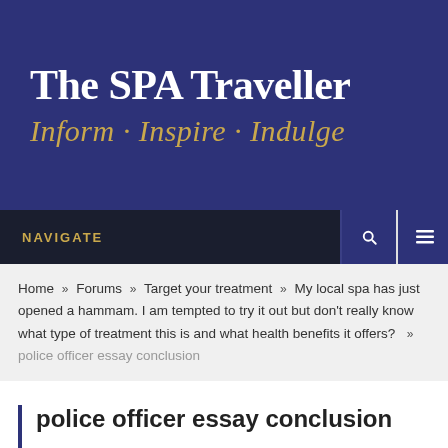The SPA Traveller
Inform · Inspire · Indulge
NAVIGATE
Home » Forums » Target your treatment » My local spa has just opened a hammam. I am tempted to try it out but don't really know what type of treatment this is and what health benefits it offers? » police officer essay conclusion
police officer essay conclusion